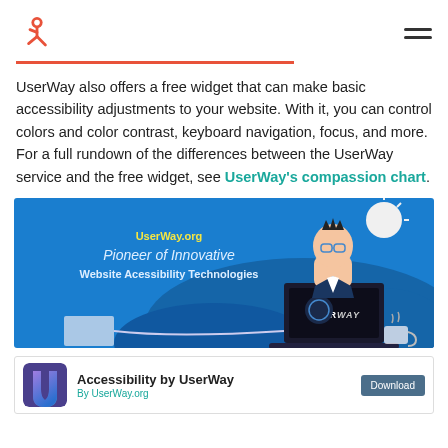HubSpot logo and hamburger menu
UserWay also offers a free widget that can make basic accessibility adjustments to your website. With it, you can control colors and color contrast, keyboard navigation, focus, and more. For a full rundown of the differences between the UserWay service and the free widget, see UserWay's compassion chart.
[Figure (illustration): UserWay.org promotional banner with animated character at a laptop. Text reads: UserWay.org, Pioneer of Innovative Website Accessibility Technologies]
[Figure (screenshot): WordPress plugin listing for Accessibility by UserWay with Download button. Shows UserWay U logo icon, title 'Accessibility by UserWay', subtitle 'By UserWay.org', and a Download button.]